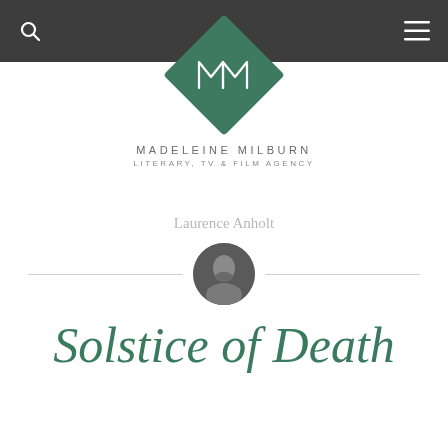Madeleine Milburn Literary, TV & Film Agency — navigation header
[Figure (logo): Madeleine Milburn Literary, TV & Film Agency diamond-shaped green logo with stylized MM monogram]
MADELEINE MILBURN
LITERARY, TV & FILM AGENCY
Laurence Anholt
[Figure (photo): Black and white circular headshot portrait of Laurence Anholt]
Solstice of Death